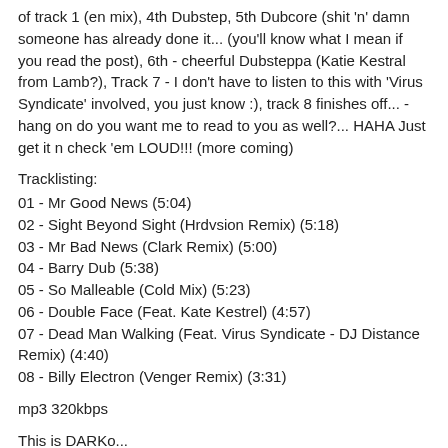of track 1 (en mix), 4th Dubstep, 5th Dubcore (shit 'n' damn someone has already done it... (you'll know what I mean if you read the post), 6th - cheerful Dubsteppa (Katie Kestral from Lamb?), Track 7 - I don't have to listen to this with 'Virus Syndicate' involved, you just know :), track 8 finishes off... - hang on do you want me to read to you as well?... HAHA Just get it n check 'em LOUD!!! (more coming)
Tracklisting:
01 - Mr Good News (5:04)
02 - Sight Beyond Sight (Hrdvsion Remix) (5:18)
03 - Mr Bad News (Clark Remix) (5:00)
04 - Barry Dub (5:38)
05 - So Malleable (Cold Mix) (5:23)
06 - Double Face (Feat. Kate Kestrel) (4:57)
07 - Dead Man Walking (Feat. Virus Syndicate - DJ Distance Remix) (4:40)
08 - Billy Electron (Venger Remix) (3:31)
mp3 320kbps
This is DARKo...